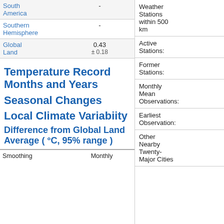| Region | Monthly | Annual | Five-year | Ten-year | Twenty-year |
| --- | --- | --- | --- | --- | --- |
| South America | - | - | 0.86 ± 0.20 | 1.00 ± 0.16 | 1.39 ± 0.49 / 1.07 ± 0.36 |
| Southern Hemisphere | - | - | 0.81 ± 0.24 | 0.94 ± 0.32 | 1.34 ± 0.99 / 1.15 ± 0.38 |
| Global Land | 0.43 ± 0.18 | 0.79 ± 0.13 | 0.91 ± 0.08 | 1.11 ± 0.03 | 2.16 ± 0.11 / 2.78 ± 0.13 |
Temperature Record Months and Years
Seasonal Changes
Local Climate Variabiity
Difference from Global Land Average ( °C, 95% range )
| Smoothing | Monthly | Annual | Five-year | Ten-year | Twenty-year |
| --- | --- | --- | --- | --- | --- |
Weather Stations within 500 km
Active Stations:
Former Stations:
Monthly Mean Observations:
Earliest Observation:
Other Nearby Twenty-Major Cities